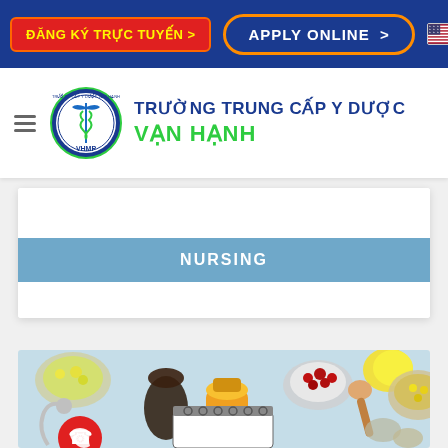ĐĂNG KÝ TRỰC TUYẾN > | APPLY ONLINE > | [US flag] [VN flag]
TRƯỜNG TRUNG CẤP Y DƯỢC VẠN HẠNH
NURSING
[Figure (photo): Overhead flat-lay photo of various food bowls, herbs, spices, a lemon, a wooden spoon, a spiral notebook, and a stethoscope on a light blue background. A red phone button is overlaid at bottom left.]